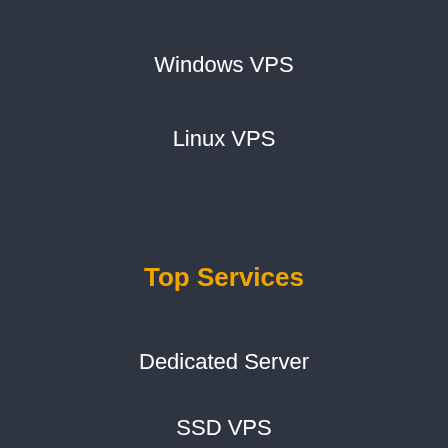Windows VPS
Linux VPS
Top Services
Dedicated Server
SSD VPS
Web Hosting
Domain registration